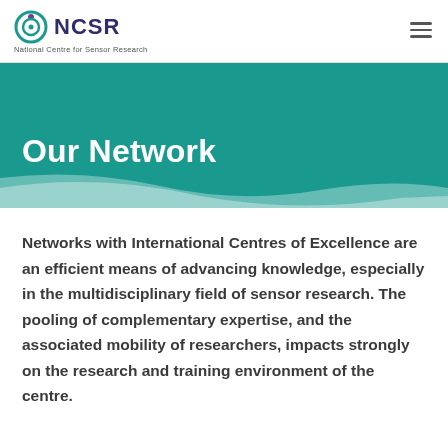NCSR — National Centre for Sensor Research
Our Network
Networks with International Centres of Excellence are an efficient means of advancing knowledge, especially in the multidisciplinary field of sensor research. The pooling of complementary expertise, and the associated mobility of researchers, impacts strongly on the research and training environment of the centre.